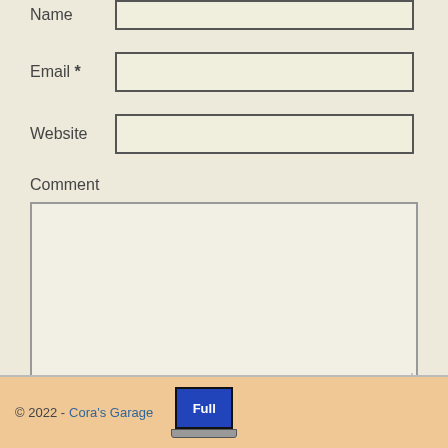Name
Email *
Website
Comment
Post Comment
© 2022 - Cora's Garage
[Figure (screenshot): Full laptop badge icon]